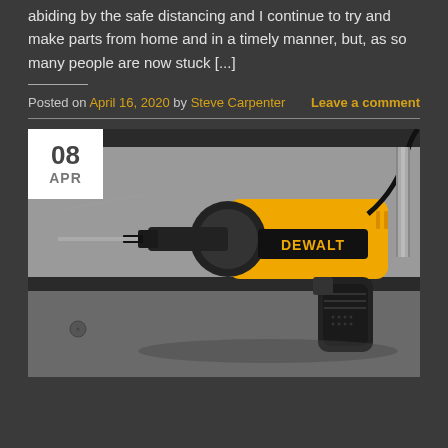abiding by the safe distancing and I continue to try and make parts from home and in a timely manner, but, as so many people are now stuck [...]
Posted on April 16, 2020 by Steve Carpenter    Leave a comment
[Figure (photo): Photo of a yellow DeWalt corded drill with black chuck, placed on a concrete/granite surface. A date badge in the top-left corner shows '08 APR'.]